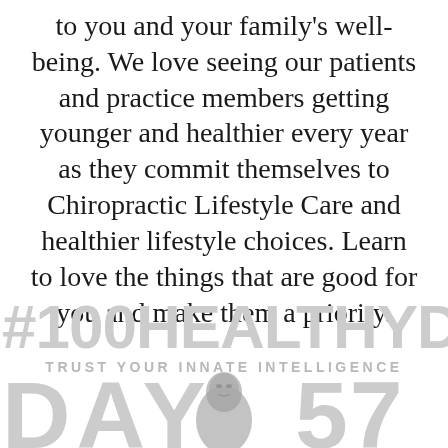to you and your family's well-being. We love seeing our patients and practice members getting younger and healthier every year as they commit themselves to Chiropractic Lifestyle Care and healthier lifestyle choices. Learn to love the things that are good for you and make them a priority.
[Figure (infographic): Large light gray bold hashtag text '#100HEALTHYDAYS' with 'TRUST YOUR INNATE INTELLIGENCE' subtitle and partially visible 'DAY' large text in gray with a black and white photo of a woman looking upward overlaid]